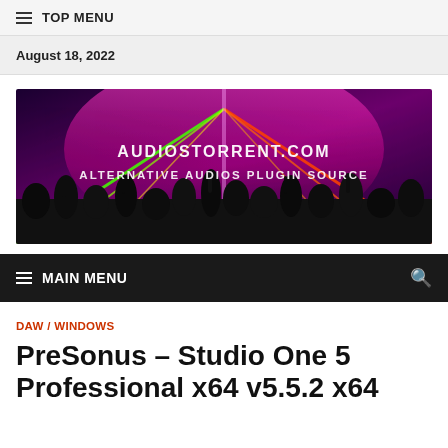≡ TOP MENU
August 18, 2022
[Figure (illustration): Banner image for audiostorrent.com showing concert laser lights with crowd silhouettes. Text reads: AUDIOSTORRENT.COM / ALTERNATIVE AUDIOS PLUGIN SOURCE]
≡ MAIN MENU
DAW / WINDOWS
PreSonus – Studio One 5 Professional x64 v5.5.2 x64